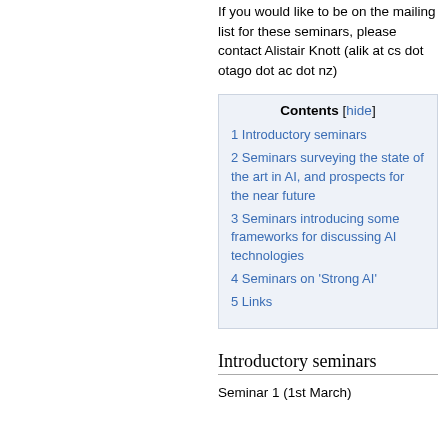If you would like to be on the mailing list for these seminars, please contact Alistair Knott (alik at cs dot otago dot ac dot nz)
| Contents [hide] |
| 1 Introductory seminars |
| 2 Seminars surveying the state of the art in AI, and prospects for the near future |
| 3 Seminars introducing some frameworks for discussing AI technologies |
| 4 Seminars on 'Strong AI' |
| 5 Links |
Introductory seminars
Seminar 1 (1st March)